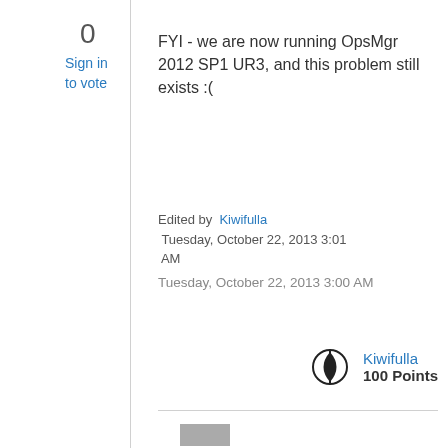0
Sign in
to vote
FYI - we are now running OpsMgr 2012 SP1 UR3, and this problem still exists :(
Edited by Kiwifulla Tuesday, October 22, 2013 3:01 AM
Tuesday, October 22, 2013 3:00 AM
Kiwifulla  100 Points